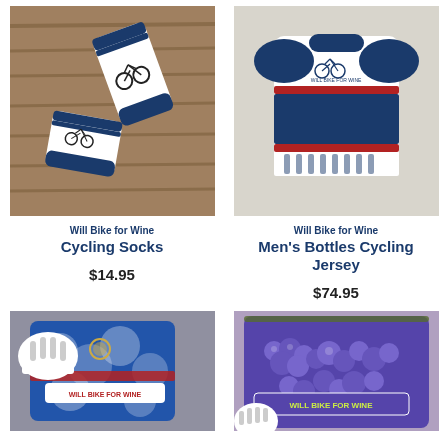[Figure (photo): Will Bike for Wine cycling socks on a wooden surface - white socks with navy blue accents and bicycle graphic]
Will Bike for Wine
Cycling Socks
$14.95
[Figure (photo): Will Bike for Wine Men's Bottles Cycling Jersey - navy blue, white and red jersey laid flat showing back with wine bottle graphics]
Will Bike for Wine
Men's Bottles Cycling Jersey
$74.95
[Figure (photo): Will Bike for Wine cycling jersey with floral grape design, blue and white with red stripe, with white helmet]
[Figure (photo): Will Bike for Wine purple grape cluster design cycling jersey with Will Bike for Wine text, navy blue and green accents]